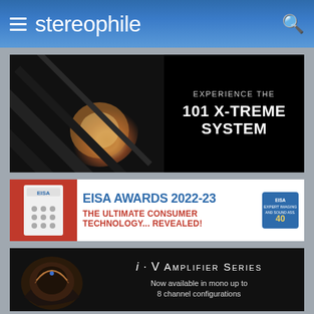stereophile
[Figure (photo): Advertisement banner for 101 X-TREME SYSTEM showing close-up of metallic audio equipment on left, with text 'EXPERIENCE THE 101 X-TREME SYSTEM' on black background on right]
[Figure (photo): Advertisement banner for EISA AWARDS 2022-23 showing white speaker on red background, with text 'EISA AWARDS 2022-23 THE ULTIMATE CONSUMER TECHNOLOGY... REVEALED!' and EISA 40th anniversary badge]
[Figure (photo): Advertisement banner for i·V Amplifier Series showing dark metallic amplifier on left, with text 'i·V Amplifier Series - Now available in mono up to 8 channel configurations']